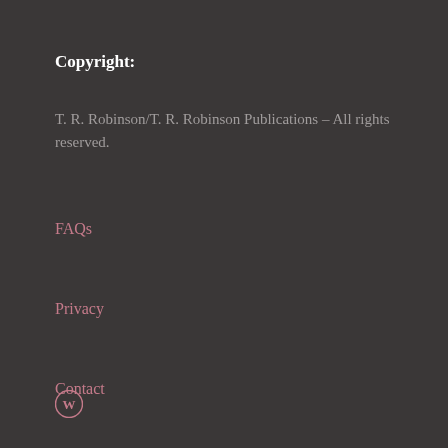Copyright:
T. R. Robinson/T. R. Robinson Publications – All rights reserved.
FAQs
Privacy
Contact
[Figure (logo): WordPress logo icon in pink/mauve color at bottom left]